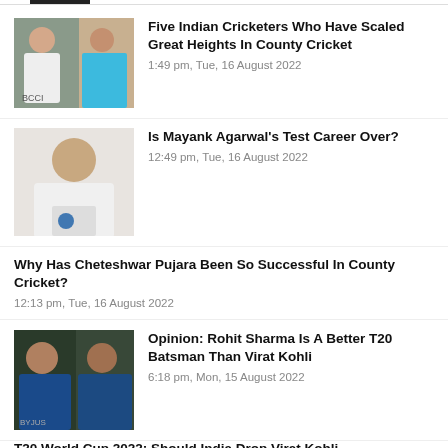[Figure (photo): Two Indian cricketers in white jerseys]
Five Indian Cricketers Who Have Scaled Great Heights In County Cricket
1:49 pm, Tue, 16 August 2022
[Figure (photo): Indian cricketer Mayank Agarwal in white jersey]
Is Mayank Agarwal's Test Career Over?
12:49 pm, Tue, 16 August 2022
Why Has Cheteshwar Pujara Been So Successful In County Cricket?
12:13 pm, Tue, 16 August 2022
[Figure (photo): Rohit Sharma and Virat Kohli in blue T20 jerseys]
Opinion: Rohit Sharma Is A Better T20 Batsman Than Virat Kohli
6:18 pm, Mon, 15 August 2022
T20 World Cup 2022: Should India Drop Virat Kohli
5:59 pm, Mon, 15 August 2022